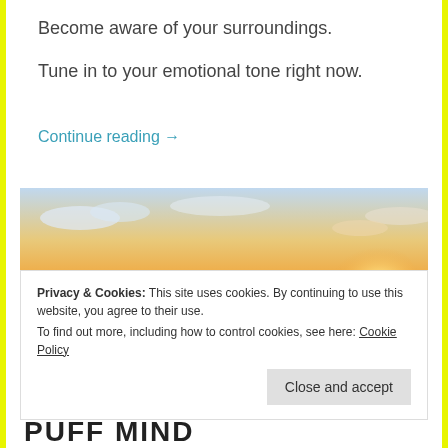Become aware of your surroundings.
Tune in to your emotional tone right now.
Continue reading →
[Figure (photo): A person sitting in silhouette against a sunset over the ocean, with warm golden light and soft clouds in the background.]
Privacy & Cookies: This site uses cookies. By continuing to use this website, you agree to their use.
To find out more, including how to control cookies, see here: Cookie Policy
Close and accept
PUFF MIND